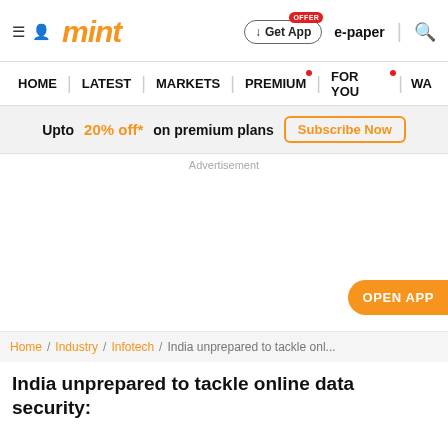mint
Upto 20% off* on premium plans Subscribe Now
Advertisement
OPEN APP
Home / Industry / Infotech / India unprepared to tackle onl...
India unprepared to tackle online data security: